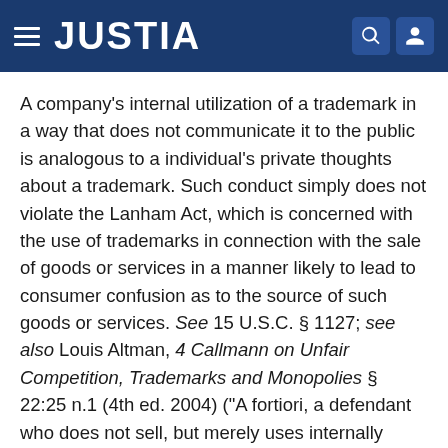JUSTIA
A company's internal utilization of a trademark in a way that does not communicate it to the public is analogous to a individual's private thoughts about a trademark. Such conduct simply does not violate the Lanham Act, which is concerned with the use of trademarks in connection with the sale of goods or services in a manner likely to lead to consumer confusion as to the source of such goods or services. See 15 U.S.C. § 1127; see also Louis Altman, 4 Callmann on Unfair Competition, Trademarks and Monopolies § 22:25 n.1 (4th ed. 2004) ("A fortiori, a defendant who does not sell, but merely uses internally within his own company, the trademarked product of another, is not a trademark infringer or unfair competitor by virtue of such use.").
Accordingly, we conclude that WhenU's inclusion of the